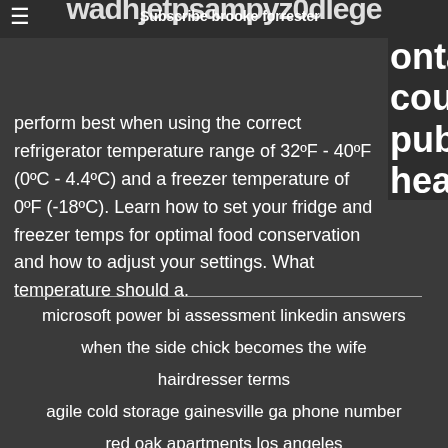wadhjetpsampyz0dlege
Subscribe brooke forrester
perform best when using the correct refrigerator temperature range of 32ºF - 40ºF (0ºC - 4.4ºC) and a freezer temperature of 0ºF (-18ºC). Learn how to set your fridge and freezer temps for optimal food conservation and how to adjust your settings. What temperature should a.
microsoft power bi assessment linkedin answers
when the side chick becomes the wife
hairdresser terms
agile cold storage gainesville ga phone number
red oak apartments los angeles
houses for sale s17